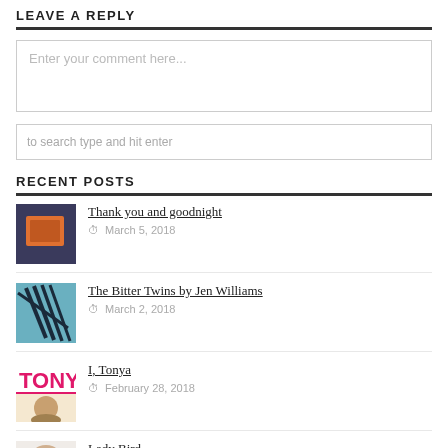LEAVE A REPLY
Enter your comment here...
to search type and hit enter
RECENT POSTS
Thank you and goodnight — March 5, 2018
The Bitter Twins by Jen Williams — March 2, 2018
I, Tonya — February 28, 2018
Lady Bird